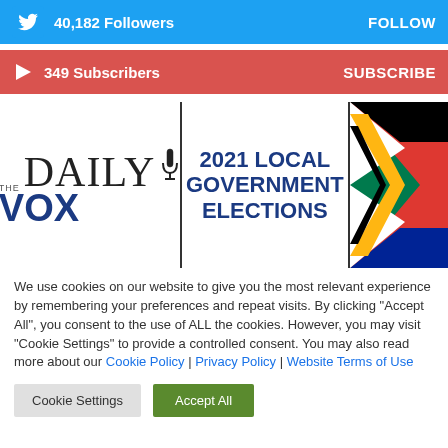40,182  Followers  FOLLOW
349  Subscribers  SUBSCRIBE
[Figure (infographic): The Daily Vox banner with 2021 Local Government Elections text and South African flag]
We use cookies on our website to give you the most relevant experience by remembering your preferences and repeat visits. By clicking "Accept All", you consent to the use of ALL the cookies. However, you may visit "Cookie Settings" to provide a controlled consent. You may also read more about our Cookie Policy | Privacy Policy | Website Terms of Use
Cookie Settings
Accept All